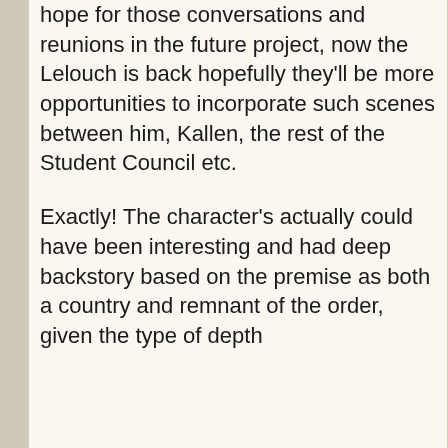hope for those conversations and reunions in the future project, now the Lelouch is back hopefully they'll be more opportunities to incorporate such scenes between him, Kallen, the rest of the Student Council etc.
Exactly! The character's actually could have been interesting and had deep backstory based on the premise as both a country and remnant of the order, given the type of depth